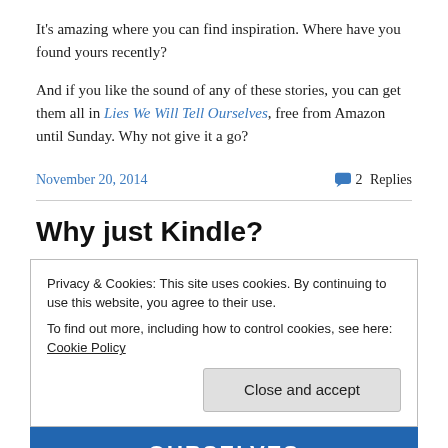It's amazing where you can find inspiration. Where have you found yours recently?
And if you like the sound of any of these stories, you can get them all in Lies We Will Tell Ourselves, free from Amazon until Sunday. Why not give it a go?
November 20, 2014    2 Replies
Why just Kindle?
Privacy & Cookies: This site uses cookies. By continuing to use this website, you agree to their use.
To find out more, including how to control cookies, see here: Cookie Policy
Close and accept
[Figure (photo): Partial view of a book cover with white text on blue background reading 'OURSELVES']